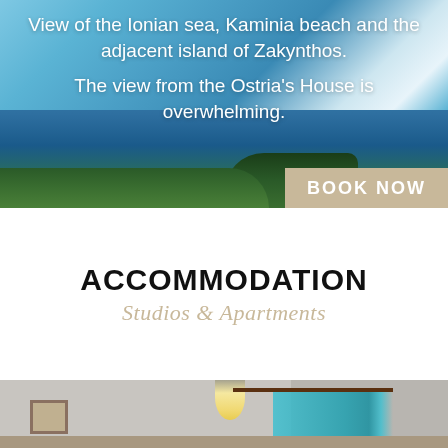[Figure (photo): Scenic view of the Ionian sea, Kaminia beach and the island of Zakynthos with blue sky and trees in the foreground, with a 'BOOK NOW' button overlay]
View of the Ionian sea, Kaminia beach and the adjacent island of Zakynthos.

The view from the Ostria's House is overwhelming.
BOOK NOW
ACCOMMODATION
Studios & Apartments
[Figure (photo): Interior room photo showing a ceiling lamp and teal/turquoise curtains on a window with a curtain rod, light grey walls and a small framed picture]